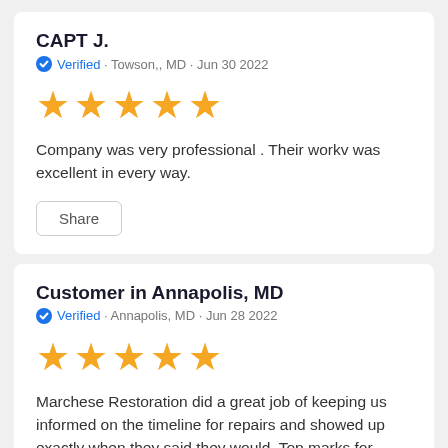CAPT J.
Verified · Towson,, MD · Jun 30 2022
[Figure (other): 5 orange star rating]
Company was very professional . Their workv was excellent in every way.
Share
Customer in Annapolis, MD
Verified · Annapolis, MD · Jun 28 2022
[Figure (other): 5 orange star rating]
Marchese Restoration did a great job of keeping us informed on the timeline for repairs and showed up exactly when they said they would. Top marks for